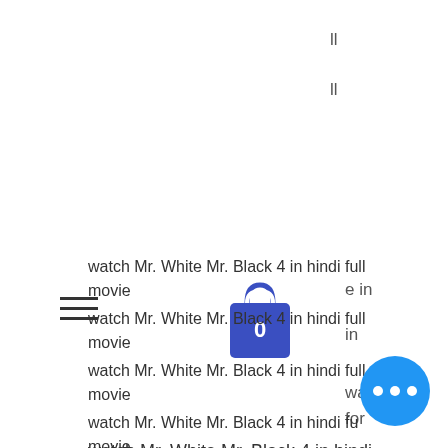ll
ll
[Figure (screenshot): Hamburger menu icon (three horizontal lines) on the left and a blue shopping bag icon with '0' in white on it in the center-right area]
e in
in
watch for
watch Mr. White Mr. Black 4 in hindi full movie
watch Mr. White Mr. Black 4 in hindi full movie
watch Mr. White Mr. Black 4 in hindi full movie
watch Mr. White Mr. Black 4 in hindi full movie
[Figure (illustration): Blue circular button with three white dots (ellipsis/more options) in the bottom right corner]